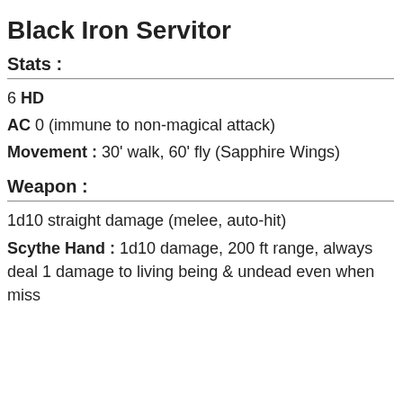Black Iron Servitor
Stats :
6 HD
AC 0 (immune to non-magical attack)
Movement : 30' walk, 60' fly (Sapphire Wings)
Weapon :
1d10 straight damage (melee, auto-hit)
Scythe Hand : 1d10 damage, 200 ft range, always deal 1 damage to living being & undead even when miss